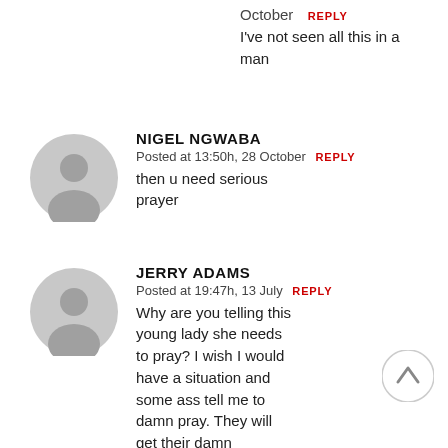October  REPLY
I've not seen all this in a man
NIGEL NGWABA
Posted at 13:50h, 28 October  REPLY
then u need serious prayer
JERRY ADAMS
Posted at 19:47h, 13 July  REPLY
Why are you telling this young lady she needs to pray? I wish I would have a situation and some ass tell me to damn pray. They will get their damn